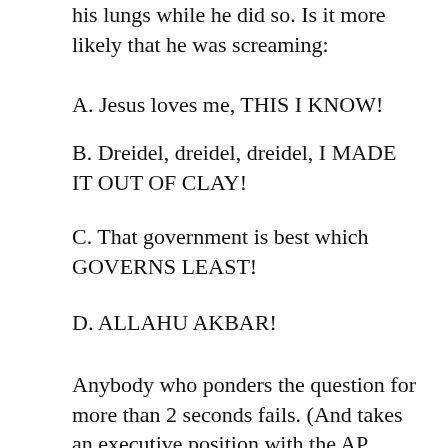his lungs while he did so. Is it more likely that he was screaming:
A. Jesus loves me, THIS I KNOW!
B. Dreidel, dreidel, dreidel, I MADE IT OUT OF CLAY!
C. That government is best which GOVERNS LEAST!
D. ALLAHU AKBAR!
Anybody who ponders the question for more than 2 seconds fails. (And takes an executive position with the AP, sadly.)
3. Speaking of the media, a Washington Post/ABC poll shows that if the last presidential election were held today, Trump would beat